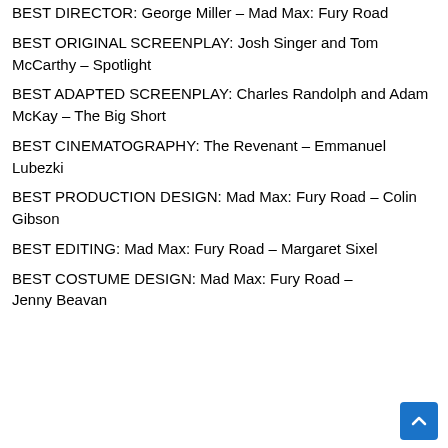BEST DIRECTOR: George Miller – Mad Max: Fury Road
BEST ORIGINAL SCREENPLAY: Josh Singer and Tom McCarthy – Spotlight
BEST ADAPTED SCREENPLAY: Charles Randolph and Adam McKay – The Big Short
BEST CINEMATOGRAPHY: The Revenant – Emmanuel Lubezki
BEST PRODUCTION DESIGN: Mad Max: Fury Road – Colin Gibson
BEST EDITING: Mad Max: Fury Road – Margaret Sixel
BEST COSTUME DESIGN: Mad Max: Fury Road – Jenny Beavan